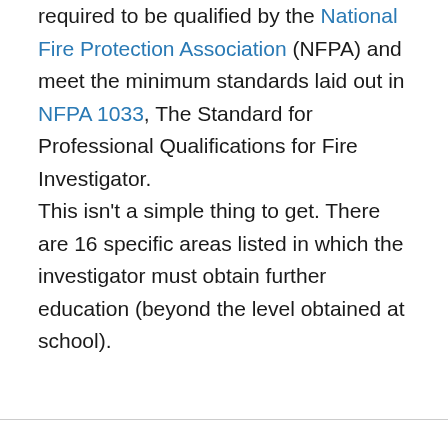required to be qualified by the National Fire Protection Association (NFPA) and meet the minimum standards laid out in NFPA 1033, The Standard for Professional Qualifications for Fire Investigator.

This isn't a simple thing to get. There are 16 specific areas listed in which the investigator must obtain further education (beyond the level obtained at school).